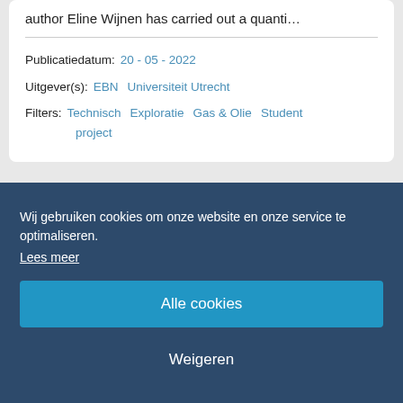author Eline Wijnen has carried out a quanti…
Publicatiedatum: 20 - 05 - 2022
Uitgever(s): EBN  Universiteit Utrecht
Filters: Technisch  Exploratie  Gas & Olie  Student project
Wij gebruiken cookies om onze website en onze service te optimaliseren.
Lees meer
Alle cookies
Weigeren